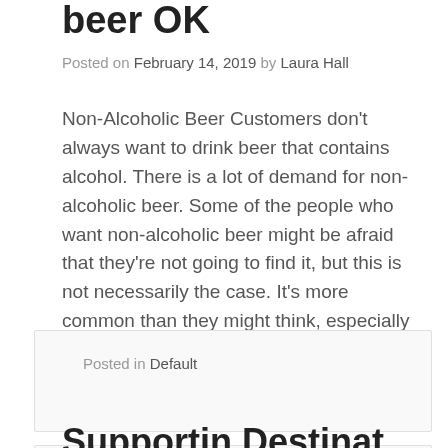beer OK
Posted on February 14, 2019 by Laura Hall
Non-Alcoholic Beer Customers don't always want to drink beer that contains alcohol. There is a lot of demand for non-alcoholic beer. Some of the people who want non-alcoholic beer might be afraid that they're not going to find it, but this is not necessarily the case. It's more common than they might think, especially these [...]
Posted in Default
Supportin Destinat...